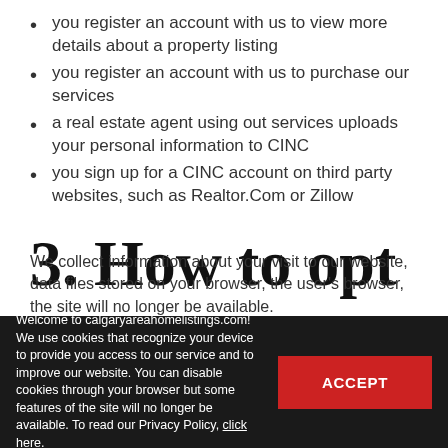you register an account with us to view more details about a property listing
you register an account with us to purchase our services
a real estate agent using out services uploads your personal information to CINC
you sign up for a CINC account on third party websites, such as Realtor.Com or Zillow
3. How to opt out
We collect information about your visit to our website, data files stored on your browser, the user's browser, the site will no longer be available.
Welcome to calgaryareahomelistings.com! We use cookies that recognize your device to provide you access to our service and to improve our website. You can disable cookies through your browser but some features of the site will no longer be available. To read our Privacy Policy, click here.